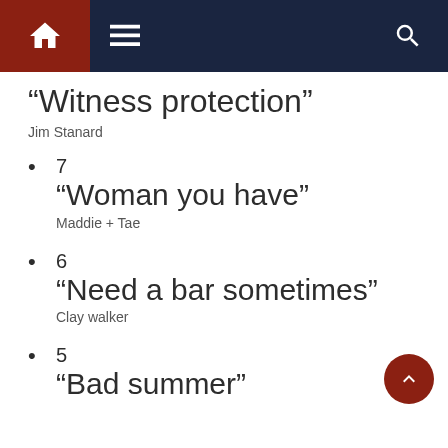Navigation bar with home, menu, and search icons
“Witness protection”
Jim Stanard
7 “Woman you have” Maddie + Tae
6 “Need a bar sometimes” Clay walker
5 “Bad summer”